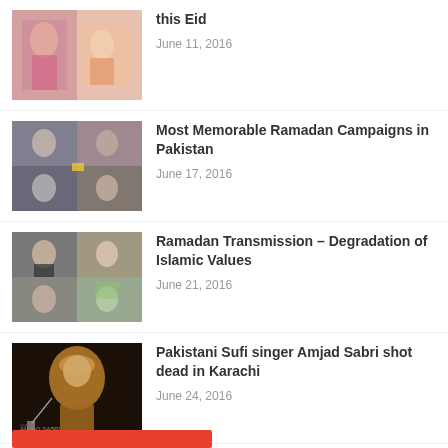[Figure (photo): Thumbnail image of women in colorful traditional clothing for Eid]
this Eid
June 11, 2016
[Figure (photo): Collage of TV show scenes for Ramadan campaigns article]
Most Memorable Ramadan Campaigns in Pakistan
June 17, 2016
[Figure (photo): Collage of TV personalities for Ramadan Transmission article]
Ramadan Transmission – Degradation of Islamic Values
June 21, 2016
[Figure (photo): Photo of Pakistani Sufi singer Amjad Sabri performing]
Pakistani Sufi singer Amjad Sabri shot dead in Karachi
June 24, 2016